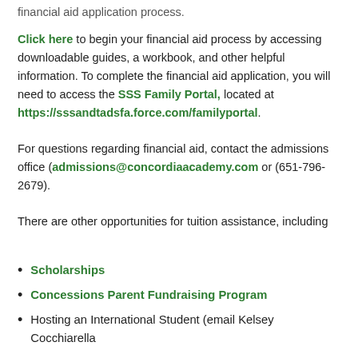financial aid application process.
Click here to begin your financial aid process by accessing downloadable guides, a workbook, and other helpful information. To complete the financial aid application, you will need to access the SSS Family Portal, located at https://sssandtadsfa.force.com/familyportal.
For questions regarding financial aid, contact the admissions office (admissions@concordiaacademy.com or (651-796-2679).
There are other opportunities for tuition assistance, including
Scholarships
Concessions Parent Fundraising Program
Hosting an International Student (email Kelsey Cocchiarella